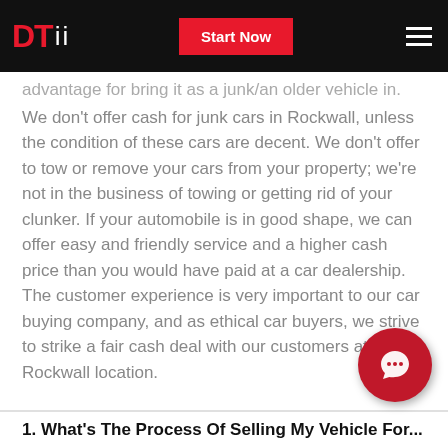DTii | Start Now
advantage for bring it as a junk/an older vehicle in. We don't offer cash for junk cars in Rockwall, unless the condition of these cars are decent. We don't offer to tow or remove your cars from your property; we're not in the business of towing or getting rid of your clunker. If your automobile is in good shape, we can offer easy and friendly service and a higher cash price than you would have paid at a car dealership. The customer experience is very important to our car buying company, and as ethical car buyers, we strive to strike a fair cash deal with our customers at our Rockwall location.
1. What's The Process Of Selling My Vehicle For...